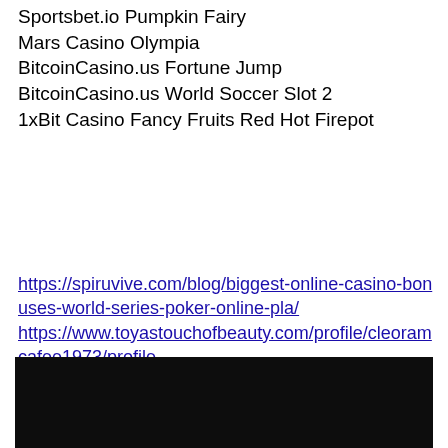Sportsbet.io Pumpkin Fairy
Mars Casino Olympia
BitcoinCasino.us Fortune Jump
BitcoinCasino.us World Soccer Slot 2
1xBit Casino Fancy Fruits Red Hot Firepot
https://spiruvive.com/blog/biggest-online-casino-bonuses-world-series-poker-online-pla/
https://www.toyastouchofbeauty.com/profile/cleoramcafee1973/profile
https://www.steveneidelkind.com/profile/corinaarif1973/profile
https://www.homeschoolingideas.in/profile/jaysonramal2007/profile
[Figure (other): Black rectangular image placeholder]